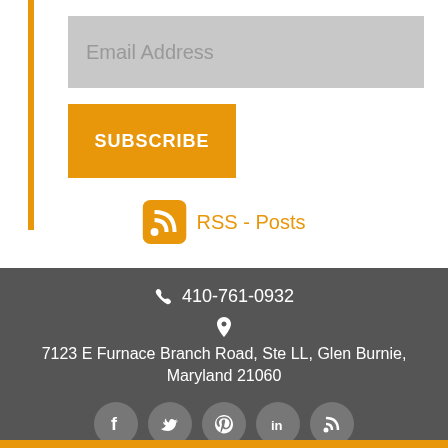Email Address
SUBSCRIBE
RSS - Posts
410-761-0932
7123 E Furnace Branch Road, Ste LL, Glen Burnie, Maryland 21060
[Figure (other): Social media icons row: Facebook, Twitter, Pinterest, LinkedIn, RSS]